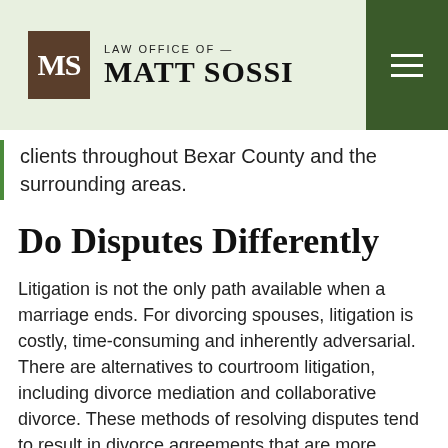LAW OFFICE OF — MATT SOSSI
clients throughout Bexar County and the surrounding areas.
Do Disputes Differently
Litigation is not the only path available when a marriage ends. For divorcing spouses, litigation is costly, time-consuming and inherently adversarial. There are alternatives to courtroom litigation, including divorce mediation and collaborative divorce. These methods of resolving disputes tend to result in divorce agreements that are more…